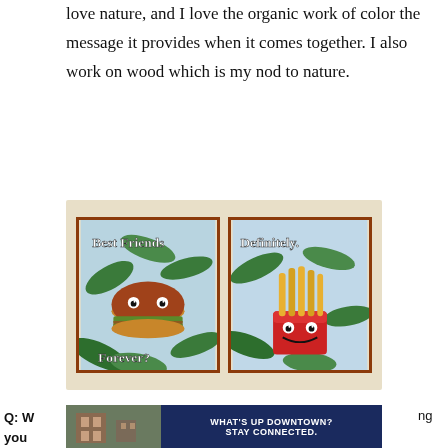love nature, and I love the organic work of color the message it provides when it comes together. I also work on wood which is my nod to nature.
[Figure (photo): Two framed pop-art paintings displayed on a beige wall. Left painting shows a cartoon hamburger with googly eyes and text 'Best Friends Forever?'. Right painting shows a cartoon french fries cup with text 'Definitely.' Both have tropical leaf backgrounds.]
Q: W...ng you...
[Figure (photo): Partial banner ad showing a building photo on the left and dark blue section with text 'WHAT'S UP DOWNTOWN? STAY CONNECTED.' on the right.]